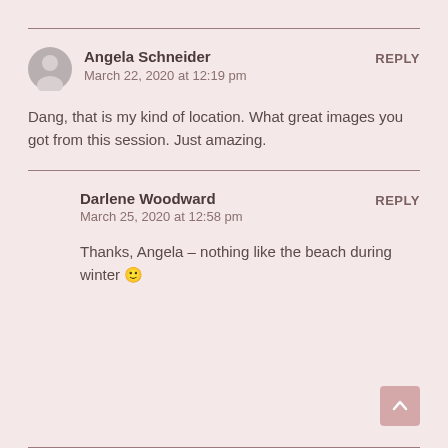Angela Schneider — March 22, 2020 at 12:19 pm — REPLY
Dang, that is my kind of location. What great images you got from this session. Just amazing.
Darlene Woodward — March 25, 2020 at 12:58 pm — REPLY
Thanks, Angela – nothing like the beach during winter 🙂